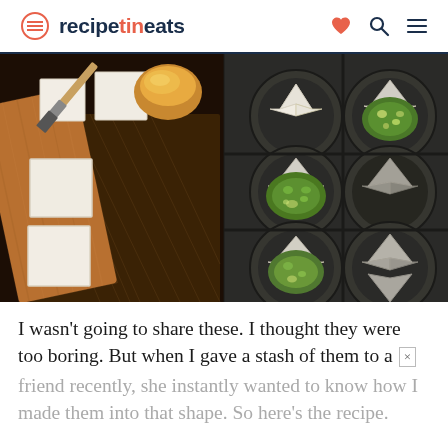recipetineats
[Figure (photo): Left side shows white wonton wrapper squares on a wooden cutting board with a pastry brush and golden egg wash bowl. Right side shows a dark muffin tin with wonton wrappers formed into cups, some filled with spinach mixture, some empty folded, arranged in a 2x3 grid.]
I wasn't going to share these. I thought they were too boring. But when I gave a stash of them to a friend recently, she instantly wanted to know how I made them into that shape. So here's the recipe.